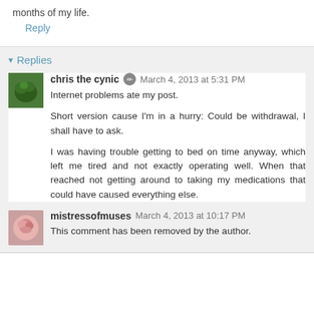months of my life.
Reply
Replies
chris the cynic  March 4, 2013 at 5:31 PM
Internet problems ate my post.

Short version cause I'm in a hurry: Could be withdrawal, I shall have to ask.

I was having trouble getting to bed on time anyway, which left me tired and not exactly operating well. When that reached not getting around to taking my medications that could have caused everything else.
mistressofmuses  March 4, 2013 at 10:17 PM
This comment has been removed by the author.